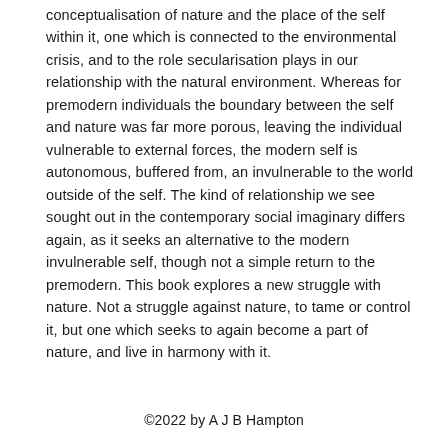conceptualisation of nature and the place of the self within it, one which is connected to the environmental crisis, and to the role secularisation plays in our relationship with the natural environment. Whereas for premodern individuals the boundary between the self and nature was far more porous, leaving the individual vulnerable to external forces, the modern self is autonomous, buffered from, an invulnerable to the world outside of the self. The kind of relationship we see sought out in the contemporary social imaginary differs again, as it seeks an alternative to the modern invulnerable self, though not a simple return to the premodern. This book explores a new struggle with nature. Not a struggle against nature, to tame or control it, but one which seeks to again become a part of nature, and live in harmony with it.
©2022 by A J B Hampton